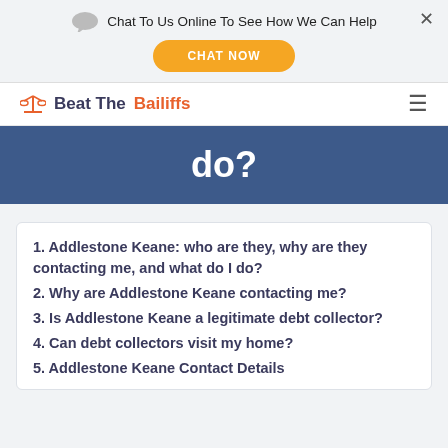Chat To Us Online To See How We Can Help
CHAT NOW
Beat The Bailiffs
do?
1. Addlestone Keane: who are they, why are they contacting me, and what do I do?
2. Why are Addlestone Keane contacting me?
3. Is Addlestone Keane a legitimate debt collector?
4. Can debt collectors visit my home?
5. Addlestone Keane Contact Details